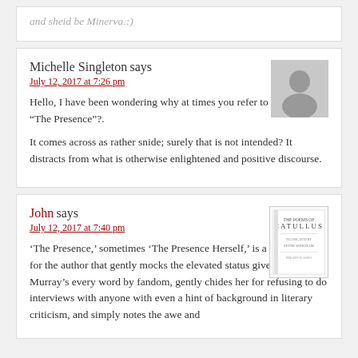and sheid be Minerva.:)
Michelle Singleton says
July 12, 2017 at 7:26 pm
Hello, I have been wondering why at times you refer to Rowling as “The Presence”?.
It comes across as rather snide; surely that is not intended? It distracts from what is otherwise enlightened and positive discourse.
John says
July 12, 2017 at 7:40 pm
‘The Presence,’ sometimes ‘The Presence Herself,’ is a euphemism for the author that gently mocks the elevated status given Jo Murray’s every word by fandom, gently chides her for refusing to do interviews with anyone with even a hint of background in literary criticism, and simply notes the awe and